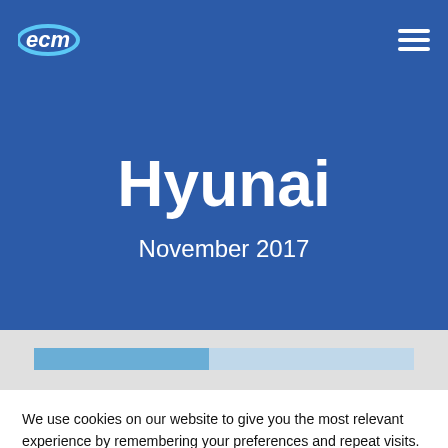ecm
Hyunai
November 2017
[Figure (other): Partial chart strip visible behind cookie overlay]
We use cookies on our website to give you the most relevant experience by remembering your preferences and repeat visits. By clicking “Accept”, you consent to the use of ALL the cookies.
Cookie settings
ACCEPT